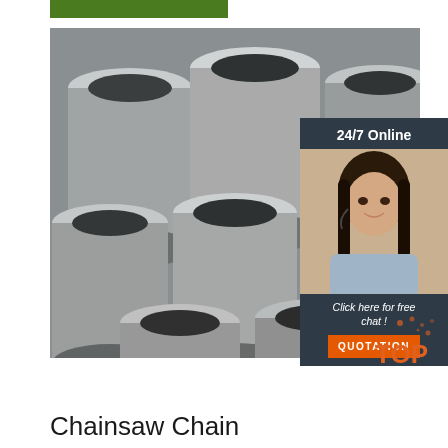[Figure (photo): Stack of steel hollow pipes/tubes viewed from the end, showing circular cross-sections, gray metallic color]
[Figure (infographic): 24/7 Online chat widget with customer service representative photo, 'Click here for free chat!' text, and orange QUOTATION button on dark navy background]
[Figure (logo): Orange 'TOP' badge with dot decorations in bottom right corner]
Chainsaw Chain